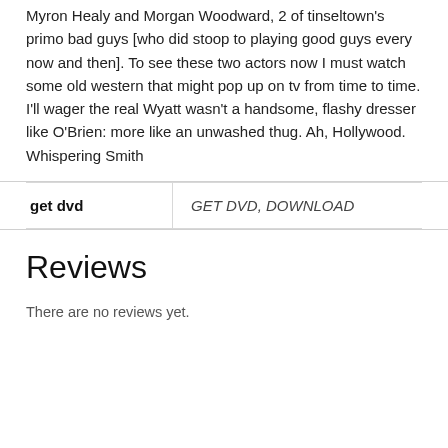Myron Healy and Morgan Woodward, 2 of tinseltown's primo bad guys [who did stoop to playing good guys every now and then]. To see these two actors now I must watch some old western that might pop up on tv from time to time. I'll wager the real Wyatt wasn't a handsome, flashy dresser like O'Brien: more like an unwashed thug. Ah, Hollywood. Whispering Smith
| get dvd | GET DVD, DOWNLOAD |
| --- | --- |
Reviews
There are no reviews yet.